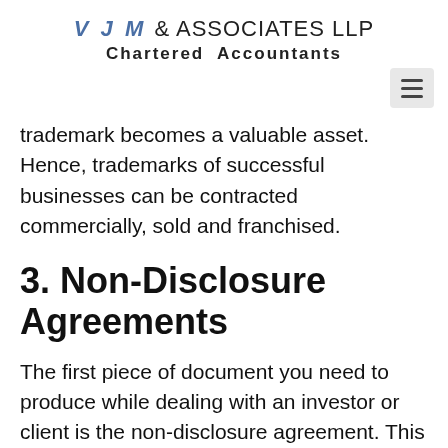VJM & ASSOCIATES LLP Chartered Accountants
trademark becomes a valuable asset. Hence, trademarks of successful businesses can be contracted commercially, sold and franchised.
3. Non-Disclosure Agreements
The first piece of document you need to produce while dealing with an investor or client is the non-disclosure agreement. This